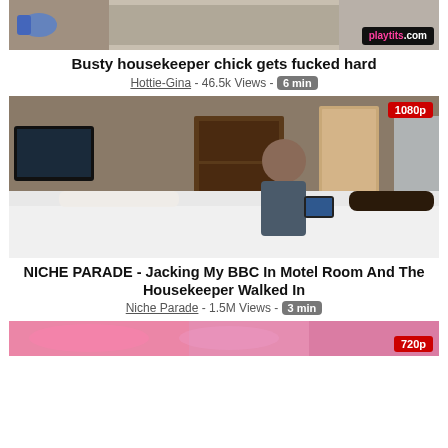[Figure (screenshot): Video thumbnail for 'Busty housekeeper chick gets fucked hard' with playtits.com logo]
Busty housekeeper chick gets fucked hard
Hottie-Gina - 46.5k Views - 6 min
[Figure (screenshot): Video thumbnail labeled 1080p for 'NICHE PARADE - Jacking My BBC In Motel Room And The Housekeeper Walked In']
NICHE PARADE - Jacking My BBC In Motel Room And The Housekeeper Walked In
Niche Parade - 1.5M Views - 3 min
[Figure (screenshot): Partial video thumbnail labeled 720p at bottom of page]